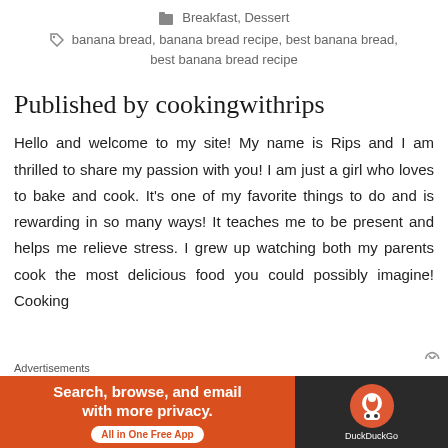Breakfast, Dessert
banana bread, banana bread recipe, best banana bread, best banana bread recipe
Published by cookingwithrips
Hello and welcome to my site! My name is Rips and I am thrilled to share my passion with you! I am just a girl who loves to bake and cook. It's one of my favorite things to do and is rewarding in so many ways! It teaches me to be present and helps me relieve stress. I grew up watching both my parents cook the most delicious food you could possibly imagine! Cooking
Advertisements
[Figure (other): DuckDuckGo advertisement banner: orange left panel with text 'Search, browse, and email with more privacy. All in One Free App' and dark right panel with DuckDuckGo logo and name.]